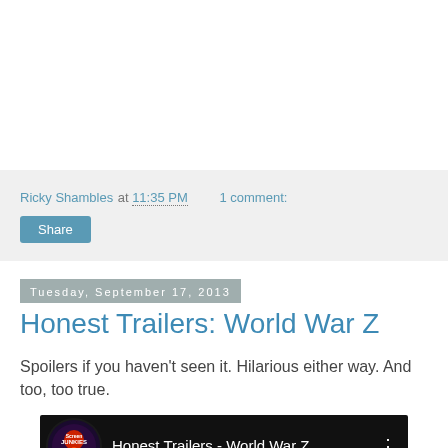Ricky Shambles at 11:35 PM  1 comment:
Share
Tuesday, September 17, 2013
Honest Trailers: World War Z
Spoilers if you haven't seen it. Hilarious either way. And too, too true.
[Figure (screenshot): YouTube video thumbnail showing Honest Trailers - World War Z with Screen Junkies logo on dark background]